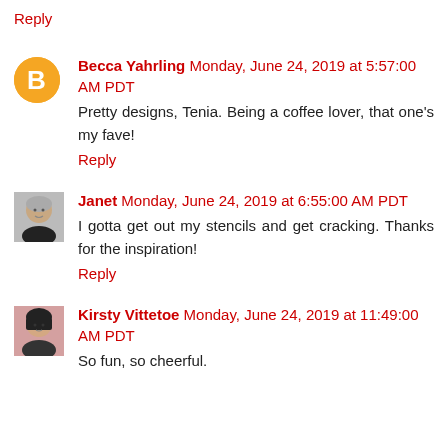Reply
Becca Yahrling  Monday, June 24, 2019 at 5:57:00 AM PDT
Pretty designs, Tenia. Being a coffee lover, that one's my fave!
Reply
Janet  Monday, June 24, 2019 at 6:55:00 AM PDT
I gotta get out my stencils and get cracking. Thanks for the inspiration!
Reply
Kirsty Vittetoe  Monday, June 24, 2019 at 11:49:00 AM PDT
So fun, so cheerful.